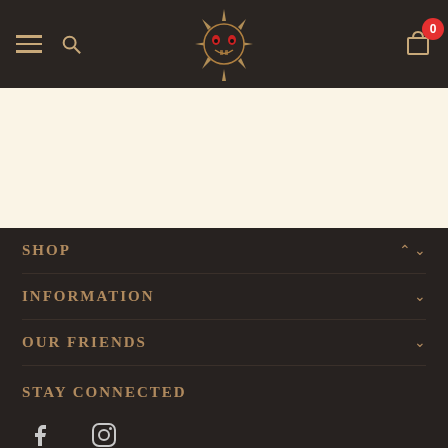Navigation bar with hamburger menu, search, logo, and cart (0)
[Figure (screenshot): Cream/off-white content band]
SHOP
INFORMATION
OUR FRIENDS
STAY CONNECTED
[Figure (illustration): Social media icons: Facebook and Instagram]